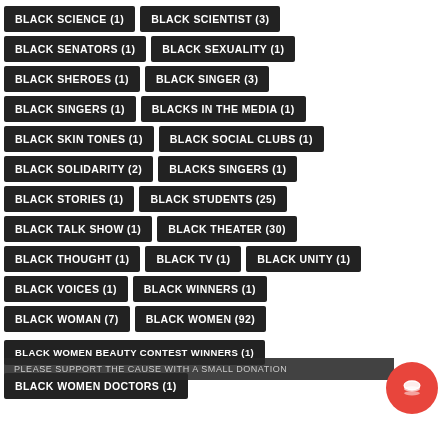BLACK SCIENCE (1)
BLACK SCIENTIST (3)
BLACK SENATORS (1)
BLACK SEXUALITY (1)
BLACK SHEROES (1)
BLACK SINGER (3)
BLACK SINGERS (1)
BLACKS IN THE MEDIA (1)
BLACK SKIN TONES (1)
BLACK SOCIAL CLUBS (1)
BLACK SOLIDARITY (2)
BLACKS SINGERS (1)
BLACK STORIES (1)
BLACK STUDENTS (25)
BLACK TALK SHOW (1)
BLACK THEATER (30)
BLACK THOUGHT (1)
BLACK TV (1)
BLACK UNITY (1)
BLACK VOICES (1)
BLACK WINNERS (1)
BLACK WOMAN (7)
BLACK WOMEN (92)
BLACK WOMEN BEAUTY CONTEST WINNERS (1)
BLACK WOMEN DOCTORS (1)
PLEASE SUPPORT THE CAUSE WITH A SMALL DONATION